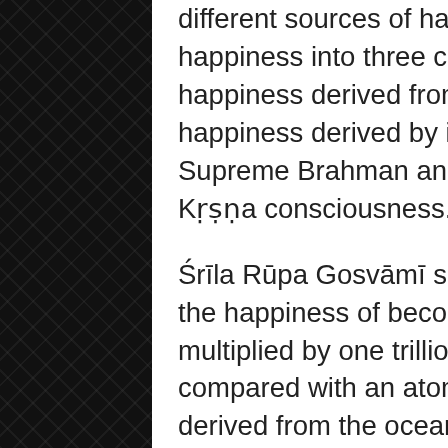different sources of happiness. He has divided happiness into three categories, which are: 1) happiness derived from material enjoyment, 2) happiness derived by identifying oneself with the Supreme Brahman and 3) happiness derived from Kṛṣṇa consciousness.
Śrīla Rūpa Gosvāmī says that if brahmānanda, or the happiness of becoming one with the Supreme, is multiplied by one trillionfold, still it cannot be compared with an atomic fraction of the happiness derived from the ocean of devotional service.
In the Nārada-pañcarātra it is also said that any person who has developed even a small amount of devotional service doesn't care a fig for any kind of happiness derived from religiousness, economic development, sense gratification, or the five kinds of